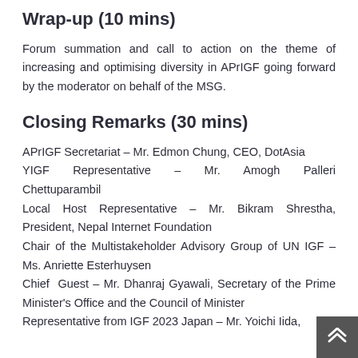Wrap-up (10 mins)
Forum summation and call to action on the theme of increasing and optimising diversity in APrIGF going forward by the moderator on behalf of the MSG.
Closing Remarks (30 mins)
APrIGF Secretariat – Mr. Edmon Chung, CEO, DotAsia
YIGF Representative – Mr. Amogh Palleri Chettuparambil
Local Host Representative – Mr. Bikram Shrestha, President, Nepal Internet Foundation
Chair of the Multistakeholder Advisory Group of UN IGF – Ms. Anriette Esterhuysen
Chief Guest – Mr. Dhanraj Gyawali, Secretary of the Prime Minister's Office and the Council of Minister
Representative from IGF 2023 Japan – Mr. Yoichi Iida,